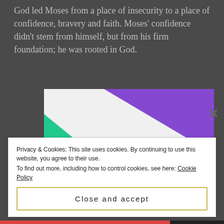God led Moses from a place of insecurity to a place of confidence, bravery and faith. Moses' confidence didn't stem from himself, but from his firm foundation; he was rooted in God.
[Figure (illustration): An advertisement card with colorful geometric shapes (purple triangle top right, green triangle left, light blue arc bottom right) on white background, with bold black text reading 'How to start selling subscriptions online']
Privacy & Cookies: This site uses cookies. By continuing to use this website, you agree to their use.
To find out more, including how to control cookies, see here: Cookie Policy
Close and accept